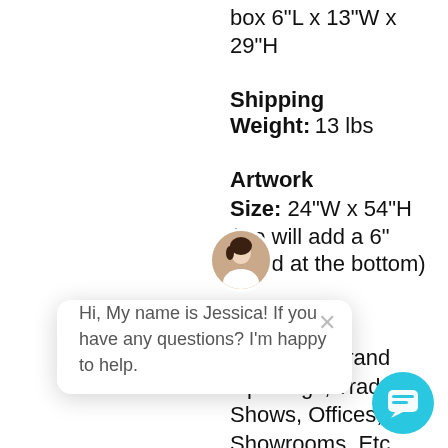box 6"L x 13"W x 29"H
Shipping Weight: 13 lbs
Artwork Size: 24"W x 54"H (we will add a 6" bleed at the bottom)
[Figure (screenshot): Chat popup with avatar photo of Jessica, close button, and message: Hi, My name is Jessica! If you have any questions? I'm happy to help.]
Galleries, Grand Openings, Trade Shows, Offices, Showrooms, Etc.
[Figure (illustration): Cyan chat bubble button in bottom right corner]